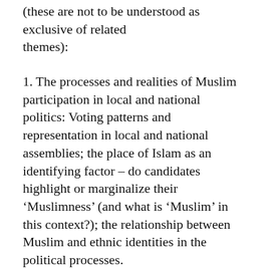(these are not to be understood as exclusive of related themes):
1. The processes and realities of Muslim participation in local and national politics: Voting patterns and representation in local and national assemblies; the place of Islam as an identifying factor – do candidates highlight or marginalize their 'Muslimness' (and what is 'Muslim' in this context?); the relationship between Muslim and ethnic identities in the political processes.
2. Internal Muslim debates about political participation in Europe: Attitudes of Muslims to the democratic process; opinions of a range...